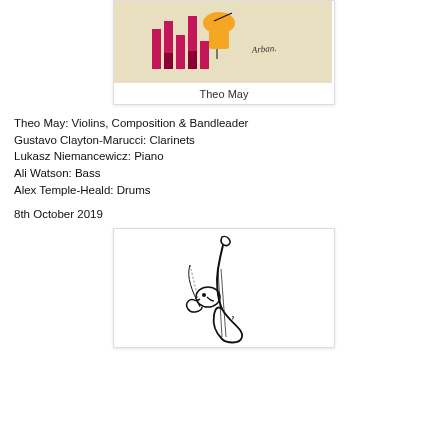[Figure (illustration): Colorful illustration with pink/magenta geometric shapes and an orange figure, with a handwritten signature 'Arban' on a beige/tan background]
Theo May
Theo May: Violins, Composition & Bandleader
Gustavo Clayton-Marucci: Clarinets
Lukasz Niemancewicz: Piano
Ali Watson: Bass
Alex Temple-Heald: Drums
8th October 2019
[Figure (illustration): Black and white line drawing of a whimsical creature playing a cello or bass instrument, with a scroll neck and wing-like features]